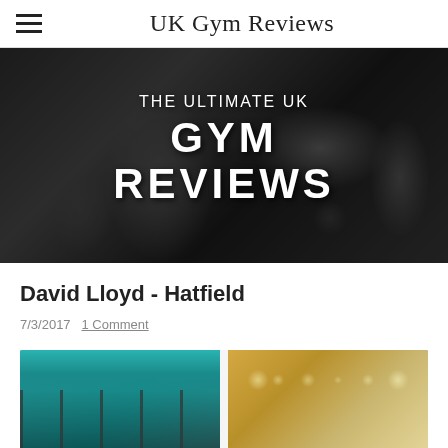UK Gym Reviews
[Figure (photo): Black and white hero banner showing gym equipment with text overlay: 'THE ULTIMATE UK GYM REVIEWS']
David Lloyd - Hatfield
7/3/2017  1 Comment
[Figure (photo): Two images of gym interior: left shows a gym floor with equipment and teal/green lighting; right shows a bright gym interior with wooden panels and modern facilities.]